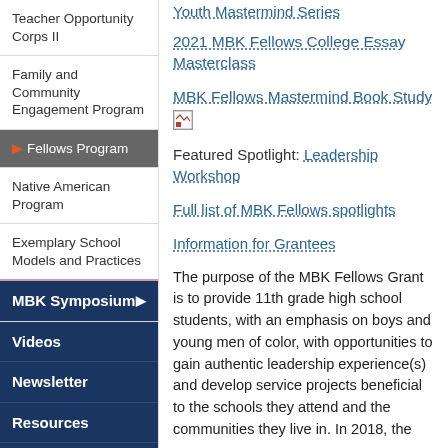Teacher Opportunity Corps II
Family and Community Engagement Program
Fellows Program (active)
Native American Program
Exemplary School Models and Practices
MBK Symposium
Videos
Newsletter
Resources
Contact Us
Youth Mastermind Series (link, partially visible at top)
2021 MBK Fellows College Essay Masterclass (link)
MBK Fellows Mastermind Book Study (link)
Featured Spotlight: Leadership Workshop
Full list of MBK Fellows spotlights (link)
Information for Grantees (link)
The purpose of the MBK Fellows Grant is to provide 11th grade high school students, with an emphasis on boys and young men of color, with opportunities to gain authentic leadership experience(s) and develop service projects beneficial to the schools they attend and the communities they live in. In 2018, the